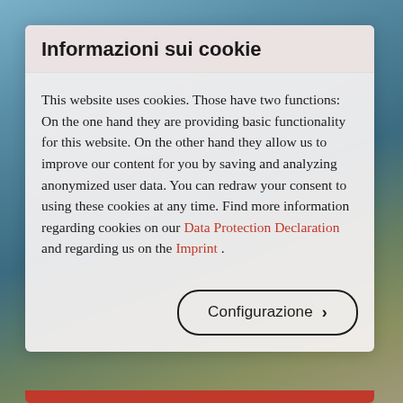Informazioni sui cookie
This website uses cookies. Those have two functions: On the one hand they are providing basic functionality for this website. On the other hand they allow us to improve our content for you by saving and analyzing anonymized user data. You can redraw your consent to using these cookies at any time. Find more information regarding cookies on our Data Protection Declaration and regarding us on the Imprint .
Configurazione >